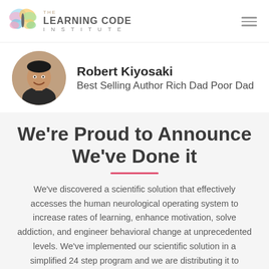THE LEARNING CODE INSTITUTE
[Figure (photo): Circular headshot photo of Robert Kiyosaki, a man smiling in a dark jacket]
Robert Kiyosaki
Best Selling Author Rich Dad Poor Dad
We're Proud to Announce We've Done it
We've discovered a scientific solution that effectively accesses the human neurological operating system to increase rates of learning, enhance motivation, solve addiction, and engineer behavioral change at unprecedented levels. We've implemented our scientific solution in a simplified 24 step program and we are distributing it to organizations that have a noble